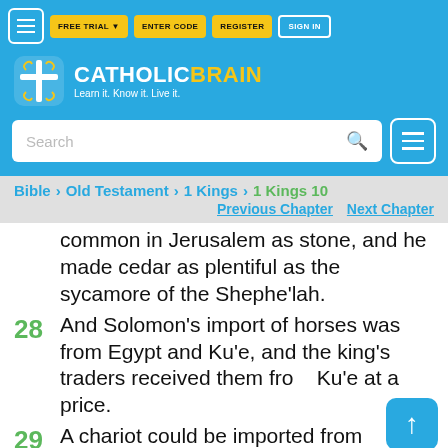[Figure (logo): CatholicBrain logo with cross/brain icon, tagline: Learn it. Know it. Live it.]
Bible > Old Testament > 1 Kings > 1 Kings 10 | Previous Chapter  Next Chapter
common in Jerusalem as stone, and he made cedar as plentiful as the sycamore of the Shephe'lah.
28 And Solomon's import of horses was from Egypt and Ku'e, and the king's traders received them from Ku'e at a price.
29 A chariot could be imported from